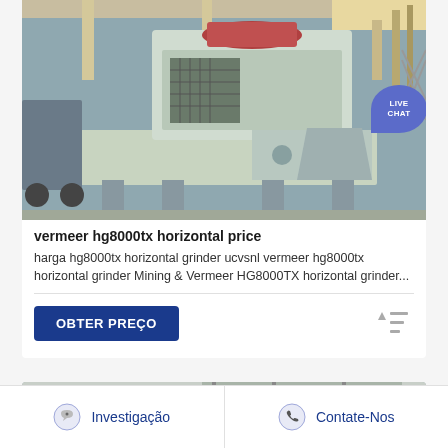[Figure (photo): Industrial mining machine (horizontal grinder) on factory floor with overhead crane structure visible. Live Chat badge overlay in top right corner.]
vermeer hg8000tx horizontal price
harga hg8000tx horizontal grinder ucvsnl vermeer hg8000tx horizontal grinder Mining & Vermeer HG8000TX horizontal grinder...
OBTER PREÇO
[Figure (photo): Partial view of industrial machinery or manufacturing facility interior.]
Investigação
Contate-Nos